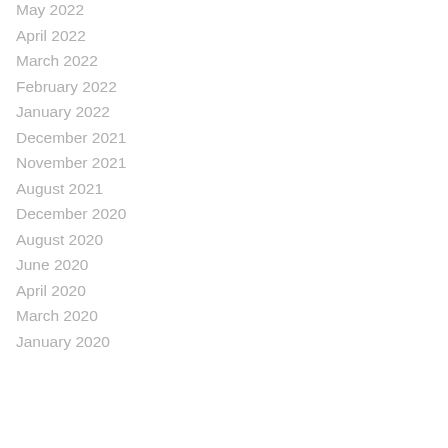May 2022
April 2022
March 2022
February 2022
January 2022
December 2021
November 2021
August 2021
December 2020
August 2020
June 2020
April 2020
March 2020
January 2020